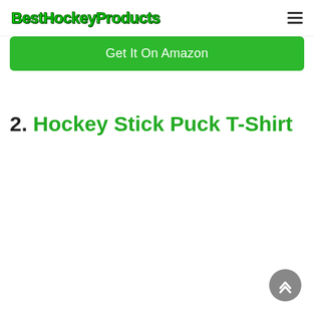BestHockeyProducts
Get It On Amazon
2. Hockey Stick Puck T-Shirt